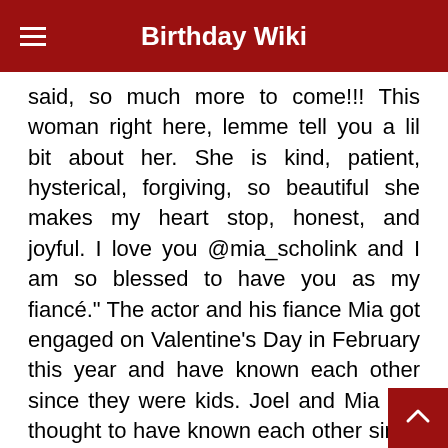Birthday Wiki
said, so much more to come!!! This woman right here, lemme tell you a lil bit about her. She is kind, patient, hysterical, forgiving, so beautiful she makes my heart stop, honest, and joyful. I love you @mia_scholink and I am so blessed to have you as my fiancé." The actor and his fiance Mia got engaged on Valentine's Day in February this year and have known each other since they were kids. Joel and Mia are thought to have known each other since they were kids but began dating in 2... Joel, 24, is set to marry Mia, an entrepreneur